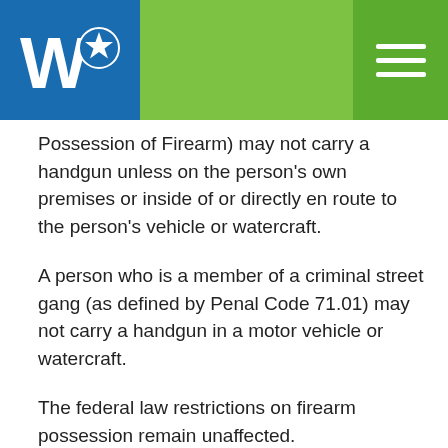Waco Police Department website header with logo and navigation
Possession of Firearm) may not carry a handgun unless on the person's own premises or inside of or directly en route to the person's vehicle or watercraft.
A person who is a member of a criminal street gang (as defined by Penal Code 71.01) may not carry a handgun in a motor vehicle or watercraft.
The federal law restrictions on firearm possession remain unaffected.
Waco Police Department Recommendations: Every citizen should educate themselves on Federal, State, and local weapon laws before making a decision to carry/possess any weapon. It is your RESPONSIBILITY! The Waco Police Department does not recommend persons under the influence of alcohol